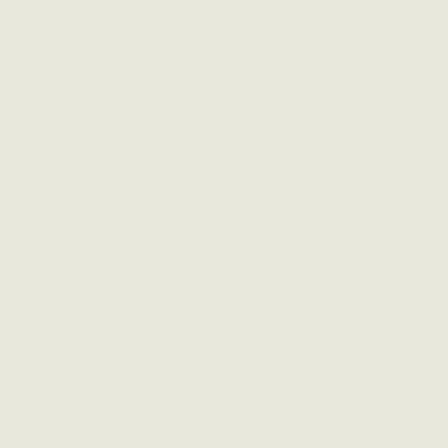threshold. This approach not only improves results with paths that are too long (which to consider them relevant anymore). By settin be fine tuned to a particular application don
In the final step, all results are clustered ba target result. When the paths are considere clusters with similar content. We found that meaningful results. For example, searching Matisse and Derain. On the instance level,
dc:creator -> ulan:Derain -> glink:hasStyle -> a
dc:creator -> ulan:Matisse -> glink:hasStyle ->
while on the schema level, this becomes a s
dc:creator -> ulan:Person -> glink:hasStyle -> a
The paths are translated to English headers users an indication of why the results match title, “Works created by an artist with match between the result and the keyword search over a resulting image.
7. Vocabulary And Metadata St…
Table 1 shows the number of triples that are